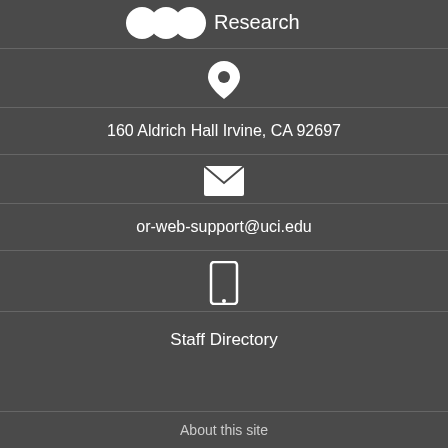[Figure (logo): UCI Research logo with white circles and 'Research' text]
[Figure (illustration): White map pin / location icon]
160 Aldrich Hall Irvine, CA 92697
[Figure (illustration): White envelope / email icon]
or-web-support@uci.edu
[Figure (illustration): White mobile phone icon]
Staff Directory
About this site